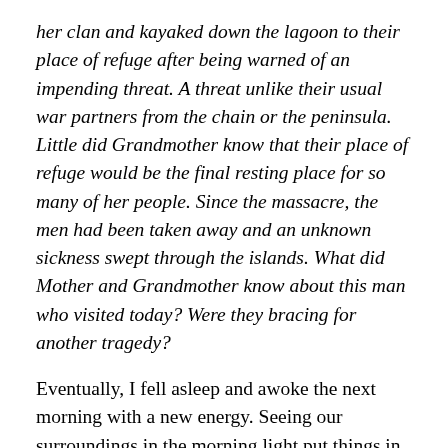her clan and kayaked down the lagoon to their place of refuge after being warned of an impending threat. A threat unlike their usual war partners from the chain or the peninsula. Little did Grandmother know that their place of refuge would be the final resting place for so many of her people. Since the massacre, the men had been taken away and an unknown sickness swept through the islands. What did Mother and Grandmother know about this man who visited today? Were they bracing for another tragedy?
Eventually, I fell asleep and awoke the next morning with a new energy. Seeing our surroundings in the morning light put things in a better perspective. Here we were